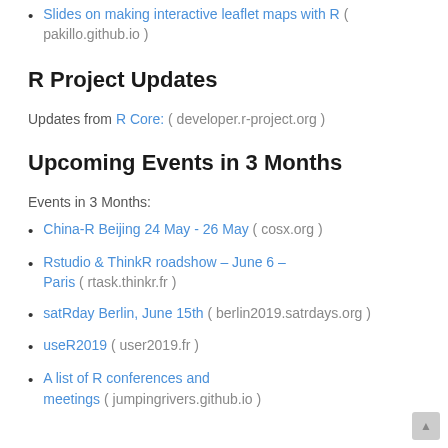Slides on making interactive leaflet maps with R ( pakillo.github.io )
R Project Updates
Updates from R Core: ( developer.r-project.org )
Upcoming Events in 3 Months
Events in 3 Months:
China-R Beijing 24 May - 26 May ( cosx.org )
Rstudio & ThinkR roadshow – June 6 – Paris ( rtask.thinkr.fr )
satRday Berlin, June 15th ( berlin2019.satrdays.org )
useR2019 ( user2019.fr )
A list of R conferences and meetings ( jumpingrivers.github.io )